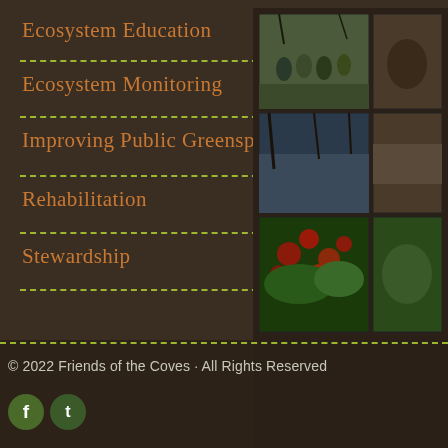Ecosystem Education
Ecosystem Monitoring
Improving Public Greenspace
Rehabilitation
Stewardship
[Figure (photo): Grid of nature and outdoor photos: people gathered outdoors, river/water scene, red flowering plants in garden]
© 2022 Friends of the Coves · All Rights Reserved